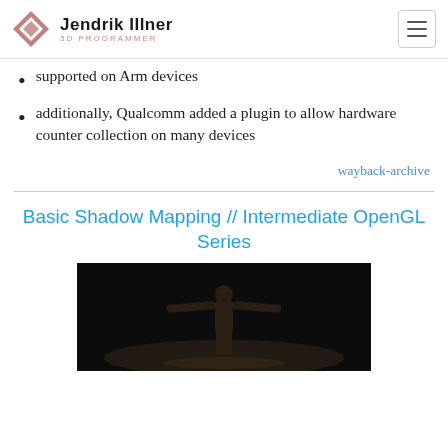Jendrik Illner — 3D PROGRAMMER
supported on Arm devices
additionally, Qualcomm added a plugin to allow hardware counter collection on many devices
wayback-archive
Basic Shadow Mapping // Intermediate OpenGL Series
[Figure (photo): Dark image of a 3D humanoid figure in a T-pose, standing on a shadowed sandy surface, upper body visible, dramatic low lighting]